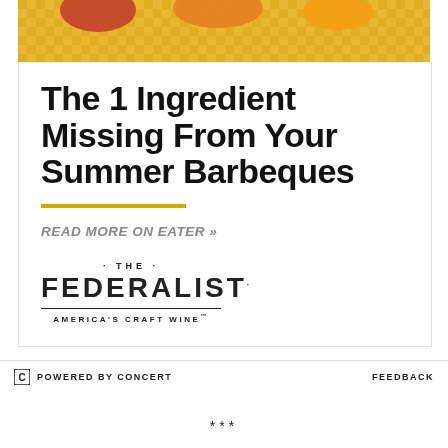[Figure (illustration): Top portion of an advertisement showing food items on a yellow gingham/checkered tablecloth background]
The 1 Ingredient Missing From Your Summer Barbeques
READ MORE ON EATER »
[Figure (logo): The Federalist - America's Craft Wine logo with decorative dots and horizontal rule]
POWERED BY CONCERT   FEEDBACK
***